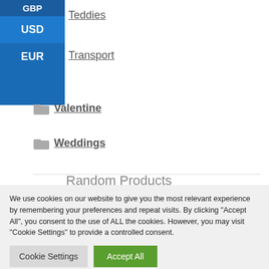GBP
USD
EUR
Teddies
Transport
Valentine
Weddings
Random Products
We use cookies on our website to give you the most relevant experience by remembering your preferences and repeat visits. By clicking “Accept All”, you consent to the use of ALL the cookies. However, you may visit "Cookie Settings" to provide a controlled consent.
Cookie Settings
Accept All